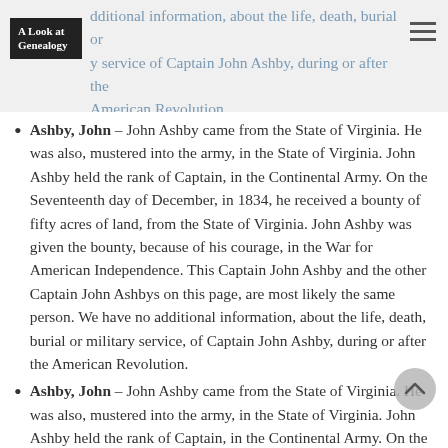A Look at Genealogy — additional information, about the life, death, burial or military service of Captain John Ashby, during or after the American Revolution.
Ashby, John – John Ashby came from the State of Virginia. He was also, mustered into the army, in the State of Virginia. John Ashby held the rank of Captain, in the Continental Army. On the Seventeenth day of December, in 1834, he received a bounty of fifty acres of land, from the State of Virginia. John Ashby was given the bounty, because of his courage, in the War for American Independence. This Captain John Ashby and the other Captain John Ashbys on this page, are most likely the same person. We have no additional information, about the life, death, burial or military service, of Captain John Ashby, during or after the American Revolution.
Ashby, John – John Ashby came from the State of Virginia. He was also, mustered into the army, in the State of Virginia. John Ashby held the rank of Captain, in the Continental Army. On the Seventeenth day of December, in 1834, he received a bounty of four hundred acres of land, from the State of Virginia. John Ashby was given the bounty of land…